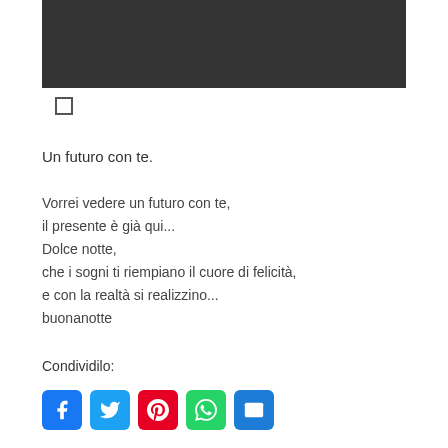[Figure (photo): Dark/black rectangular image placeholder at top of page]
[Figure (other): Small empty checkbox/square icon]
Un futuro con te.
Vorrei vedere un futuro con te,
il presente è già qui...
Dolce notte,
che i sogni ti riempiano il cuore di felicità,
e con la realtà si realizzino...
buonanotte
Condividilo:
[Figure (other): Social share icons: Facebook, Twitter, Pinterest, WhatsApp, Email]